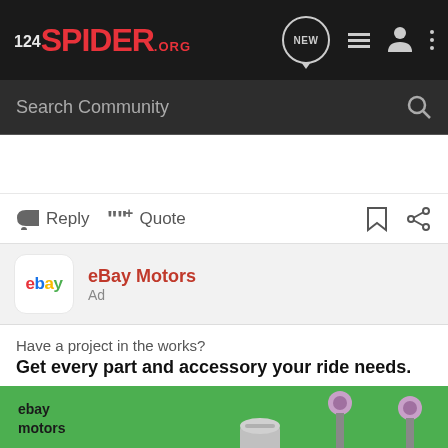124SPIDER.ORG — navigation bar with logo and icons (NEW, list, user, menu)
Search Community
Reply  Quote
eBay Motors
Ad
Have a project in the works?
Get every part and accessory your ride needs.
[Figure (illustration): eBay Motors advertisement banner on green background showing 'ebay motors' logo text, car parts (shock absorbers, cylindrical part), and the text 'Let's ride!']